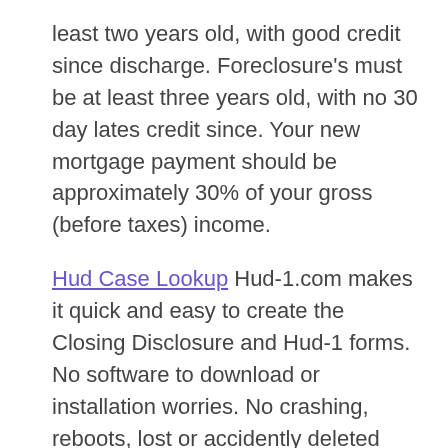least two years old, with good credit since discharge. Foreclosure's must be at least three years old, with no 30 day lates credit since. Your new mortgage payment should be approximately 30% of your gross (before taxes) income.
Hud Case Lookup Hud-1.com makes it quick and easy to create the Closing Disclosure and Hud-1 forms. No software to download or installation worries. No crashing, reboots, lost or accidently deleted files.
How to Qualify for an FHA Mortgage. FHA loans recommend a good credit score of 620 or better, which generally means that your credit for the past two years must have less than two thirty day late payments and a solid credit history. If you have an unfortunate bankruptcy on your record, it.